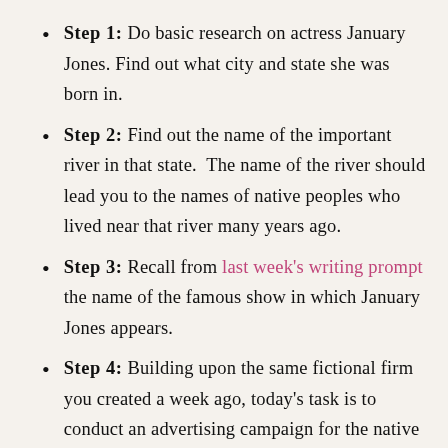Step 1: Do basic research on actress January Jones. Find out what city and state she was born in.
Step 2: Find out the name of the important river in that state. The name of the river should lead you to the names of native peoples who lived near that river many years ago.
Step 3: Recall from last week's writing prompt the name of the famous show in which January Jones appears.
Step 4: Building upon the same fictional firm you created a week ago, today's task is to conduct an advertising campaign for the native peoples who once lived near that important river. If they were alive